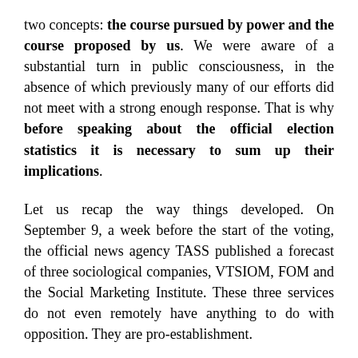two concepts: the course pursued by power and the course proposed by us. We were aware of a substantial turn in public consciousness, in the absence of which previously many of our efforts did not meet with a strong enough response. That is why before speaking about the official election statistics it is necessary to sum up their implications.
Let us recap the way things developed. On September 9, a week before the start of the voting, the official news agency TASS published a forecast of three sociological companies, VTSIOM, FOM and the Social Marketing Institute. These three services do not even remotely have anything to do with opposition. They are pro-establishment.
They all predicted a turnout of “slightly over 50%,” which it was on paper. They put United Russia’s rating at 29.5%, and among those who said they would certainly